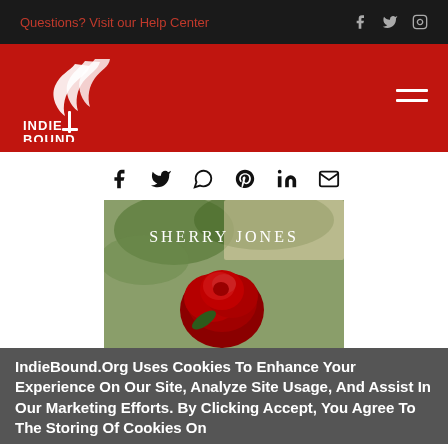Questions? Visit our Help Center
[Figure (logo): IndieBound logo on red background with hamburger menu icon]
[Figure (infographic): Social sharing icons: Facebook, Twitter, WhatsApp, Pinterest, LinkedIn, Email]
[Figure (photo): Book cover showing red rose with text SHERRY JONES]
IndieBound.Org Uses Cookies To Enhance Your Experience On Our Site, Analyze Site Usage, And Assist In Our Marketing Efforts. By Clicking Accept, You Agree To The Storing Of Cookies On